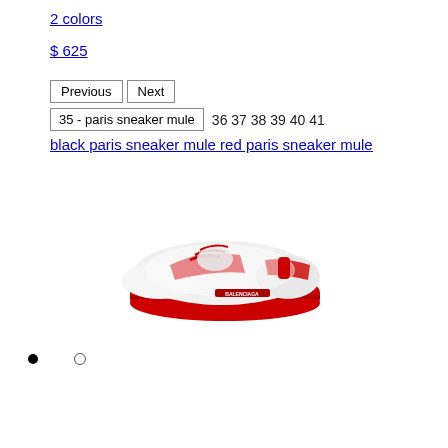2 colors
$ 625
Previous  Next
35 - paris sneaker mule  36 37 38 39 40 41
black paris sneaker mule red paris sneaker mule
[Figure (photo): White and red Balenciaga Paris sneaker mule with red laces and red chunky sole, viewed from the side]
• ○